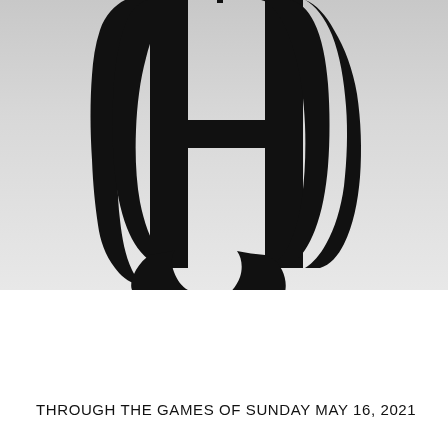[Figure (logo): Large blackletter/gothic capital letter H logo on a light gray gradient background, cropped so only the H letterform is visible]
THROUGH THE GAMES OF SUNDAY MAY 16, 2021